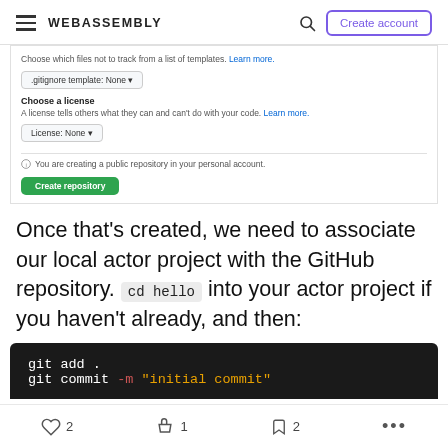WEBASSEMBLY — Create account
[Figure (screenshot): GitHub repository creation form showing gitignore template dropdown (None), Choose a license section with license description and Learn more link, License: None dropdown, a separator, info notice about creating a public repository in personal account, and a green Create repository button.]
Once that's created, we need to associate our local actor project with the GitHub repository. cd hello into your actor project if you haven't already, and then:
[Figure (screenshot): Dark terminal/code block showing two lines: 'git add .' in white, and 'git commit -m "initial commit"' with -m in red and "initial commit" in orange/yellow.]
2 likes  1 clap  2 bookmarks  more options